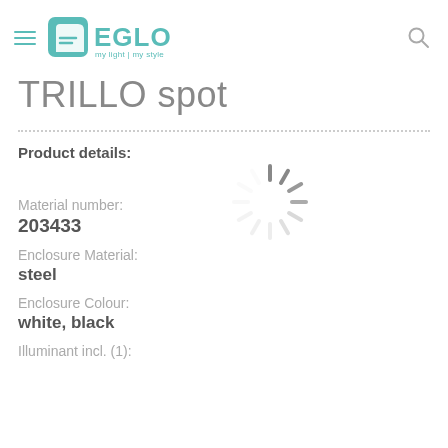EGLO — my light | my style
TRILLO spot
Product details:
[Figure (other): Loading spinner (animated spinner placeholder indicating content is loading)]
Material number:
203433
Enclosure Material:
steel
Enclosure Colour:
white, black
Illuminant incl. (1):